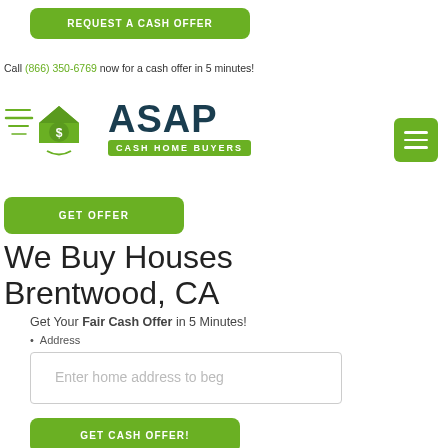REQUEST A CASH OFFER
Call (866) 350-6769 now for a cash offer in 5 minutes!
[Figure (logo): ASAP Cash Home Buyers logo with a house and dollar sign icon on the left and bold dark teal ASAP text with green CASH HOME BUYERS banner on the right]
GET OFFER
≡
We Buy Houses Brentwood, CA
Get Your Fair Cash Offer in 5 Minutes!
Address
Enter home address to beg
GET CASH OFFER!
866-350-6769